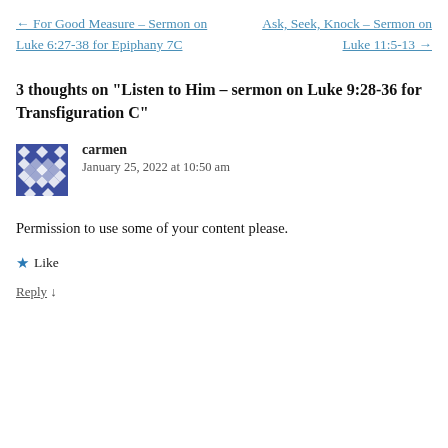← For Good Measure – Sermon on Luke 6:27-38 for Epiphany 7C
Ask, Seek, Knock – Sermon on Luke 11:5-13 →
3 thoughts on “Listen to Him – sermon on Luke 9:28-36 for Transfiguration C”
[Figure (illustration): User avatar icon with geometric diamond/cross pattern in navy blue]
carmen
January 25, 2022 at 10:50 am
Permission to use some of your content please.
★ Like
Reply ↓